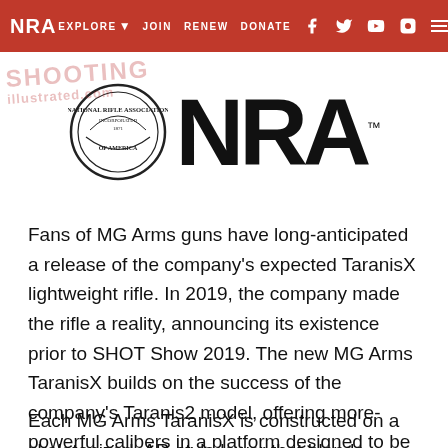NRA EXPLORE  JOIN  RENEW  DONATE
[Figure (logo): NRA seal/crest logo and large NRA text logo with TM mark]
Fans of MG Arms guns have long-anticipated a release of the company's expected TaranisX lightweight rifle. In 2019, the company made the rifle a reality, announcing its existence prior to SHOT Show 2019. The new MG Arms TaranisX builds on the success of the company's Taranis2 model, offering more-powerful calibers in a platform designed to be nimble, compact and lightweight.
Each MG Arms TaranisX is constructed on a skeletonized, AR-style lower that blends elements of